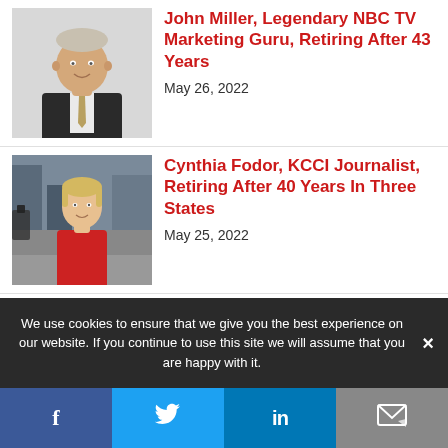[Figure (photo): Professional headshot of a man in a dark suit with tie, smiling]
John Miller, Legendary NBC TV Marketing Guru, Retiring After 43 Years
May 26, 2022
[Figure (photo): Woman in red jacket standing outdoors on a city street with camera equipment nearby]
Cynthia Fodor, KCCI Journalist, Retiring After 40 Years In Three States
May 25, 2022
We use cookies to ensure that we give you the best experience on our website. If you continue to use this site we will assume that you are happy with it.
Facebook | Twitter | LinkedIn | Email